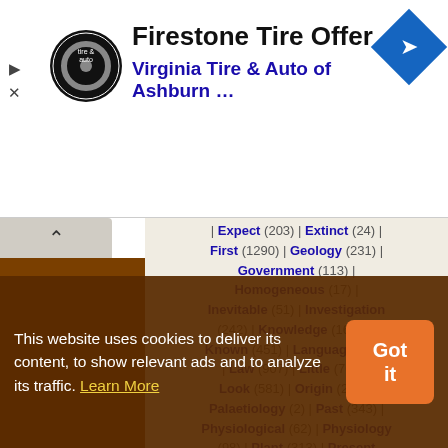[Figure (screenshot): Advertisement banner: Firestone Tire Offer - Virginia Tire & Auto of Ashburn ... with logo and navigation arrow icon]
Expect (203) | Extinct (24) | First (1290) | Geology (231) | Government (113) | Homogeneous (17) | Inevitable (51) | Investigation (242) | Knowledge (1610) | Known (451) | Language (303) | Law (907) | Little (708) | Look (581) | Origin (246) | Palaetiology (2) | Past (343) | Physiological (62) | Physiology (98) | Plant (313) | Present (625) | Reason (757) | Reasoning (211) | Remote (84) | Research (734) | Result (688) | Species (419) | Speculation (134) | State (497) | Thing (1914) | Will (2352)
Genes make enzymes, and enzymes control the rates of chemical processes. Genes do not
This website uses cookies to deliver its content, to show relevant ads and to analyze its traffic. Learn More